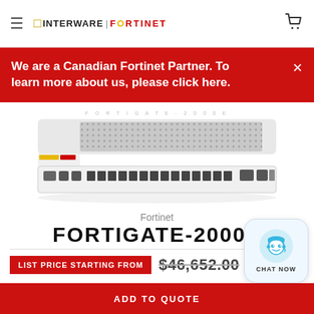INTERWARE | FORTINET
We are a Canadian Fortinet Partner. To learn more about us, please click here.
[Figure (photo): Fortinet FortiGate-2000E network security appliance, 2U rack-mount device with mesh ventilation and multiple SFP+ ports on the front panel]
Fortinet
FORTIGATE-2000E
LIST PRICE STARTING FROM $46,652.00
ADD TO QUOTE